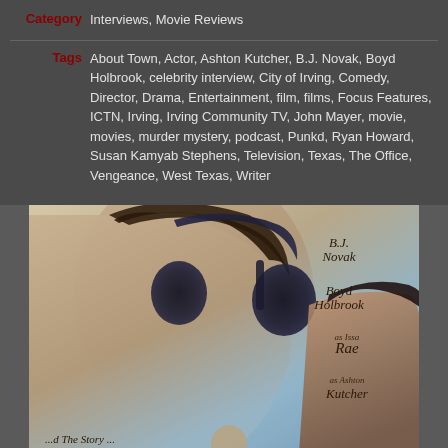Category: Interviews, Movie Reviews
Tags: About Town, Actor, Ashton Kutcher, B.J. Novak, Boyd Holbrook, celebrity interview, City of Irving, Comedy, Director, Drama, Entertainment, film, films, Focus Features, ICTN, Irving, Irving Community TV, John Mayer, movie, movies, murder mystery, podcast, Punkd, Ryan Howard, Susan Kamyab Stephens, Television, Texas, The Office, Vengeance, West Texas, Writer
[Figure (photo): Movie poster for 'Vengeance' featuring B.J. Novak in profile wearing headphones, with Boyd Holbrook, Issa Rae, and Ashton Kutcher credited on the right side, and additional characters in the background]